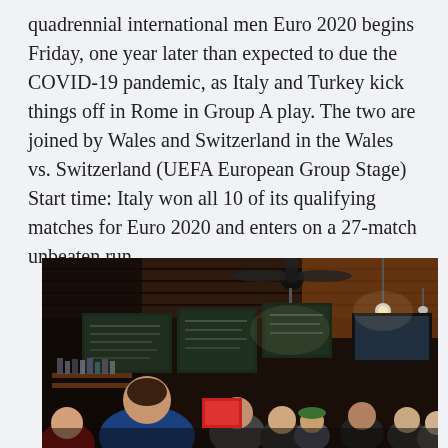quadrennial international men Euro 2020 begins Friday, one year later than expected to due the COVID-19 pandemic, as Italy and Turkey kick things off in Rome in Group A play. The two are joined by Wales and Switzerland in the Wales vs. Switzerland (UEFA European Group Stage) Start time: Italy won all 10 of its qualifying matches for Euro 2020 and enters on a 27-match unbeaten run.
[Figure (photo): Interior of a busy bar/pub with wooden ceiling, chalkboard menus on the wall, hanging pendant lights, and a crowd of people standing and sitting. A man in a blue shirt is visible in the foreground.]